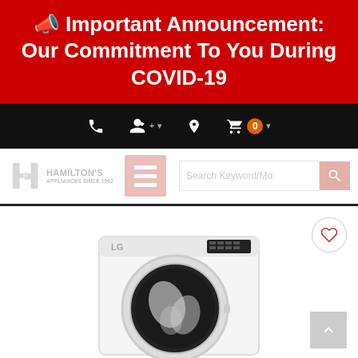📣 Important Announcement: Our Commitment To You During COVID-19
[Figure (screenshot): Black navigation bar with phone icon, user account icon with dropdown, location pin icon, shopping cart icon with orange badge showing 0, and dropdown arrow]
[Figure (logo): Hamilton's Appliances Since 1962 logo (greyed out), red hamburger menu icon (greyed out), search input field with 'Search Keyword/Mo' placeholder, and red search button]
[Figure (photo): LG front-load washing machine product photo, partially cut off at bottom. Heart/wishlist button in top right. Scroll-to-top arrow button in bottom right.]